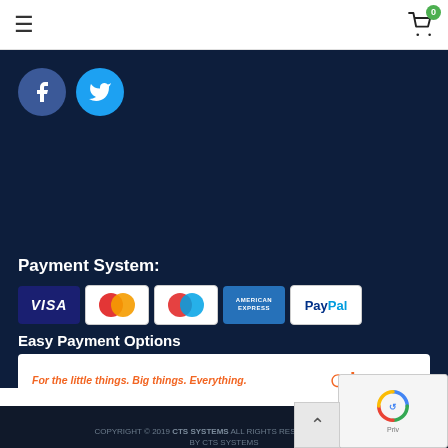≡  [cart icon] 0
[Figure (logo): Facebook and Twitter circular social media icon buttons on dark navy background]
Payment System:
[Figure (logo): Payment method logos: VISA, Mastercard, Maestro, American Express, PayPal]
Easy Payment Options
[Figure (logo): Humm buy now pay later banner: 'For the little things. Big things. Everything.' with humm logo]
Terms & Conditions   Privacy Policy   Contact   FAQs
COPYRIGHT © 2019 CTS SYSTEMS ALL RIGHTS RESERVED. DEVELOPED BY CTS SYSTEMS